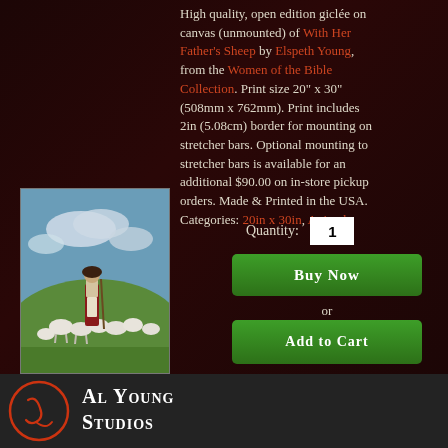High quality, open edition giclée on canvas (unmounted) of With Her Father's Sheep by Elspeth Young, from the Women of the Bible Collection. Print size 20" x 30" (508mm x 762mm). Print includes 2in (5.08cm) border for mounting on stretcher bars. Optional mounting to stretcher bars is available for an additional $90.00 on in-store pickup orders. Made & Printed in the USA. Categories: 20in x 30in, Animals,
[Figure (photo): Painting of a young woman in biblical dress standing with a flock of white sheep in a green field with blue sky]
Quantity: 1
Buy Now
or
Add to Cart
Al Young Studios